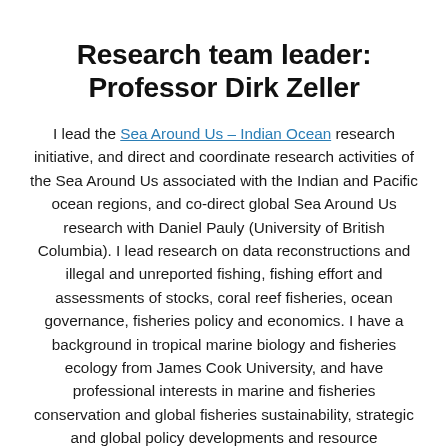Research team leader: Professor Dirk Zeller
I lead the Sea Around Us – Indian Ocean research initiative, and direct and coordinate research activities of the Sea Around Us associated with the Indian and Pacific ocean regions, and co-direct global Sea Around Us research with Daniel Pauly (University of British Columbia). I lead research on data reconstructions and illegal and unreported fishing, fishing effort and assessments of stocks, coral reef fisheries, ocean governance, fisheries policy and economics. I have a background in tropical marine biology and fisheries ecology from James Cook University, and have professional interests in marine and fisheries conservation and global fisheries sustainability, strategic and global policy developments and resource economics.